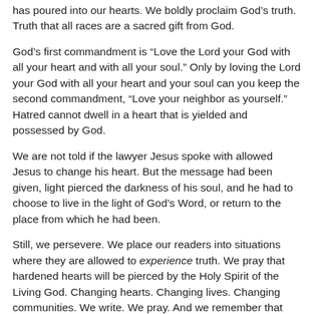has poured into our hearts. We boldly proclaim God's truth. Truth that all races are a sacred gift from God.
God's first commandment is “Love the Lord your God with all your heart and with all your soul.” Only by loving the Lord your God with all your heart and your soul can you keep the second commandment, “Love your neighbor as yourself.” Hatred cannot dwell in a heart that is yielded and possessed by God.
We are not told if the lawyer Jesus spoke with allowed Jesus to change his heart. But the message had been given, light pierced the darkness of his soul, and he had to choose to live in the light of God’s Word, or return to the place from which he had been.
Still, we persevere. We place our readers into situations where they are allowed to experience truth. We pray that hardened hearts will be pierced by the Holy Spirit of the Living God. Changing hearts. Changing lives. Changing communities. We write. We pray. And we remember that following Christ often brings tribulation. Still, we continue to